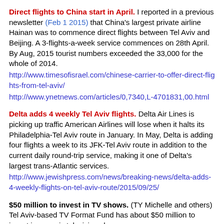Direct flights to China start in April. I reported in a previous newsletter (Feb 1 2015) that China's largest private airline Hainan was to commence direct flights between Tel Aviv and Beijing. A 3-flights-a-week service commences on 28th April. By Aug, 2015 tourist numbers exceeded the 33,000 for the whole of 2014. http://www.timesofisrael.com/chinese-carrier-to-offer-direct-flights-from-tel-aviv/ http://www.ynetnews.com/articles/0,7340,L-4701831,00.html
Delta adds 4 weekly Tel Aviv flights. Delta Air Lines is picking up traffic American Airlines will lose when it halts its Philadelphia-Tel Aviv route in January. In May, Delta is adding four flights a week to its JFK-Tel Aviv route in addition to the current daily round-trip service, making it one of Delta's largest trans-Atlantic services. http://www.jewishpress.com/news/breaking-news/delta-adds-4-weekly-flights-on-tel-aviv-route/2015/09/25/
$50 million to invest in TV shows. (TY Michelle and others) Tel Aviv-based TV Format Fund has about $50 million to invest in over six television shows.